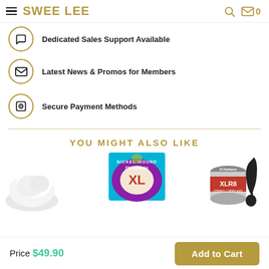SWEE LEE
Dedicated Sales Support Available
Latest News & Promos for Members
Secure Payment Methods
YOU MIGHT ALSO LIKE
[Figure (photo): Product images: fluffy white item, D'Addario XL Nickel Wound guitar strings (9-42), D'Addario XLR8 string lubricant tin with black guitar]
Price $49.90
Add to Cart